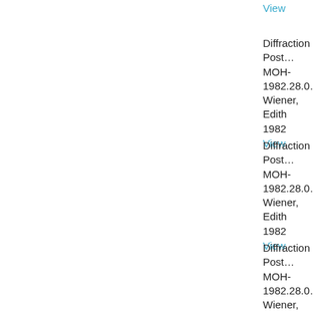View
Diffraction Post...
MOH-1982.28.0...
Wiener, Edith
1982
View
Diffraction Post...
MOH-1982.28.0...
Wiener, Edith
1982
View
Diffraction Post...
MOH-1982.28.0...
Wiener, Edith
1982
View
Nautilus Shell
MOH-1982.29
Dichromate Inc.
date unknown
View
La Reve [The D...